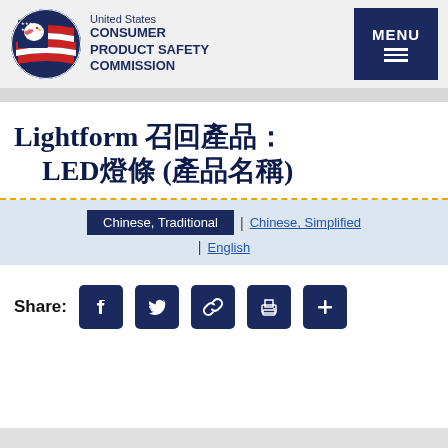United States CONSUMER PRODUCT SAFETY COMMISSION
Lightform 召回產品：LED燈條 (產品名稱)
Chinese, Traditional | Chinese, Simplified | English
Share: